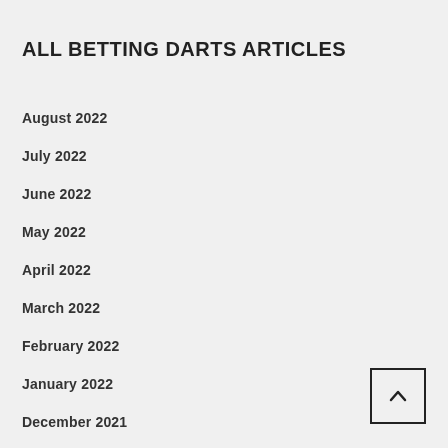ALL BETTING DARTS ARTICLES
August 2022
July 2022
June 2022
May 2022
April 2022
March 2022
February 2022
January 2022
December 2021